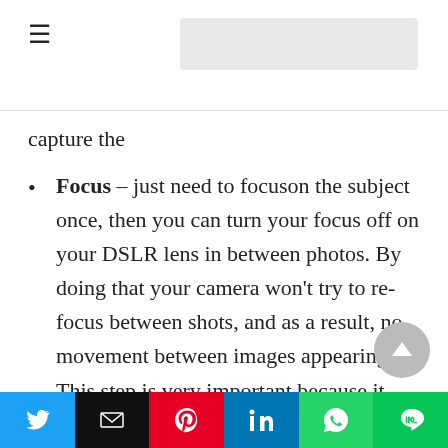≡ [navigation header with search bar]
capture the
Focus – just need to focuson the subject once, then you can turn your focus off on your DSLR lens in between photos. By doing that your camera won't try to re-focus between shots, and as a result, no movement between images appearing. This step is very important because it involves to post-processing step. So keep the focus level on all the photos the same for premium results.
Don't shoot wider than 12mm– 12mm on cropped sensor bodies or approximately 16-18mm on full frame cameras is suitable for showing
Twitter | Email | Pinterest | LinkedIn | WhatsApp | Line